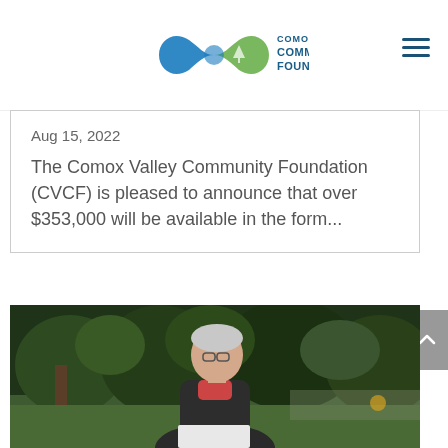Comox Valley Community Foundation
Aug 15, 2022
The Comox Valley Community Foundation (CVCF) is pleased to announce that over $353,000 will be available in the form...
[Figure (photo): Person standing outdoors in a garden setting, smiling, wearing glasses and a dark fleece jacket, with trees and greenery in the background.]